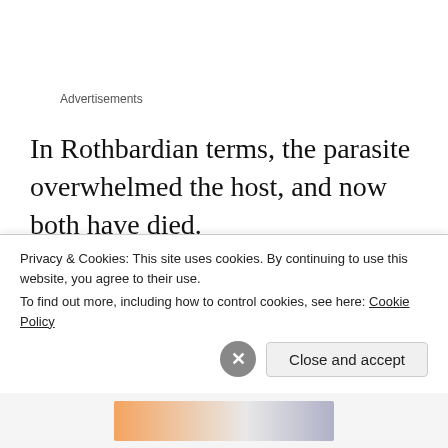Advertisements
In Rothbardian terms, the parasite overwhelmed the host, and now both have died.
Someone who can speak in such clear libertarian terms, I don't know what he's doing joining a radical left wing political movement expecting them to just sit back and relax as he
Privacy & Cookies: This site uses cookies. By continuing to use this website, you agree to their use. To find out more, including how to control cookies, see here: Cookie Policy
Close and accept